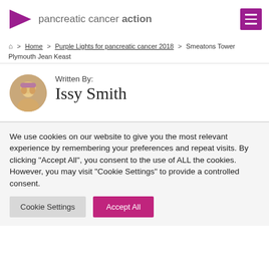[Figure (logo): Pancreatic Cancer Action logo with purple arrow and text]
Home > Purple Lights for pancreatic cancer 2018 > Smeatons Tower Plymouth Jean Keast
[Figure (photo): Circular avatar photo of Issy Smith, a young blonde woman]
Written By: Issy Smith
We use cookies on our website to give you the most relevant experience by remembering your preferences and repeat visits. By clicking "Accept All", you consent to the use of ALL the cookies. However, you may visit "Cookie Settings" to provide a controlled consent.
Cookie Settings | Accept All